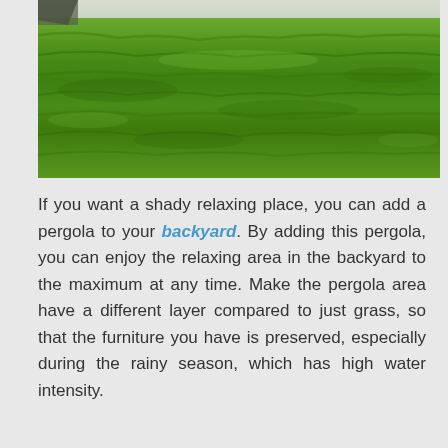[Figure (photo): A photograph of a green grass lawn or field viewed from a low angle, showing dense green grass covering the ground.]
If you want a shady relaxing place, you can add a pergola to your backyard. By adding this pergola, you can enjoy the relaxing area in the backyard to the maximum at any time. Make the pergola area have a different layer compared to just grass, so that the furniture you have is preserved, especially during the rainy season, which has high water intensity.